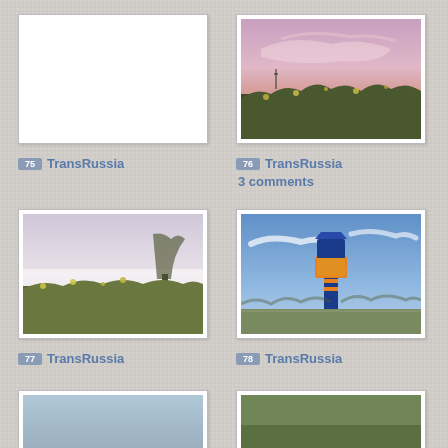[Figure (photo): White/blank photo frame - no image content visible]
75 TransRussia
[Figure (photo): Sunset or dusk sky over a field with wildflowers and vegetation, pink and purple hues]
76 TransRussia
3 comments
[Figure (photo): Open field with wildflowers, a lone tree in the background, misty atmosphere, pale sky]
77 TransRussia
[Figure (photo): Blue and yellow tower or waypoint marker structure against a blue sky with scattered clouds]
78 TransRussia
[Figure (photo): Partially visible landscape photo at bottom left, cut off]
[Figure (photo): Partially visible scene with trees or vegetation at bottom right, cut off]